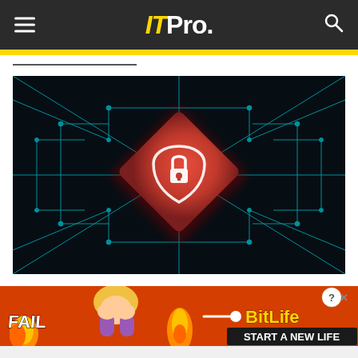IT Pro.
[Figure (screenshot): ITPro website header with hamburger menu on left, ITpro yellow and white logo in center, and search icon on right, on dark gray background with yellow stripe below]
[Figure (photo): Cybersecurity concept image: dark circuit board background with glowing teal circuit lines radiating from center, red diamond/shield shape with white padlock and shield icon in the center]
[Figure (screenshot): Mobile advertisement banner for BitLife game: red flame background, cartoon woman with hands on face (facepalm), orange flame, text FAIL on left, BitLife logo on right, START A NEW LIFE tagline, close button X with ? overlay in top right]